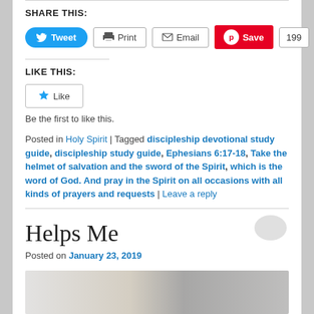SHARE THIS:
[Figure (screenshot): Social sharing buttons: Tweet (blue), Print (outlined), Email (outlined), Save/Pinterest (red) with count 199]
LIKE THIS:
[Figure (screenshot): Like button with blue star icon]
Be the first to like this.
Posted in Holy Spirit | Tagged discipleship devotional study guide, discipleship study guide, Ephesians 6:17-18, Take the helmet of salvation and the sword of the Spirit, which is the word of God. And pray in the Spirit on all occasions with all kinds of prayers and requests | Leave a reply
Helps Me
Posted on January 23, 2019
[Figure (photo): Partial photo visible at bottom of page]